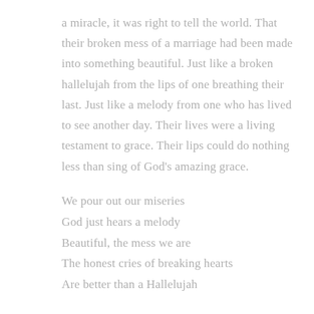a miracle, it was right to tell the world. That their broken mess of a marriage had been made into something beautiful. Just like a broken hallelujah from the lips of one breathing their last. Just like a melody from one who has lived to see another day. Their lives were a living testament to grace. Their lips could do nothing less than sing of God's amazing grace.
We pour out our miseries
God just hears a melody
Beautiful, the mess we are
The honest cries of breaking hearts
Are better than a Hallelujah